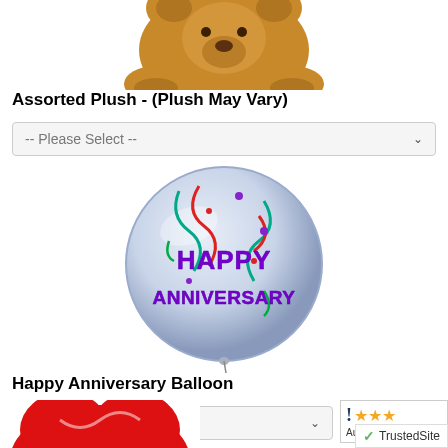[Figure (photo): Assorted plush stuffed animal (teddy bear), brown fur, top portion visible]
Assorted Plush - (Plush May Vary)
[Figure (other): Dropdown select box labeled '-- Please Select --']
[Figure (photo): Happy Anniversary Balloon - round metallic foil balloon with colorful confetti streamers and purple text reading 'Happy Anniversary']
Happy Anniversary Balloon
[Figure (other): Dropdown select box labeled '-- Please Select --' with TrustedSite badge overlay showing stars and date Aug 24, 202...]
[Figure (photo): Red heart-shaped balloon, partially visible at bottom of page]
[Figure (logo): TrustedSite badge at bottom right]